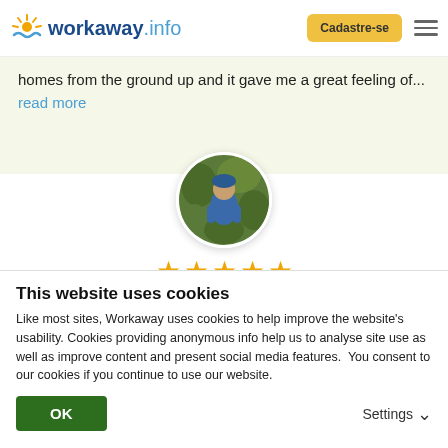workaway.info | Cadastre-se
homes from the ground up and it gave me a great feeling of... read more
[Figure (photo): Circular profile photo of a person (Greg) climbing or doing outdoor activity in green foliage]
[Figure (infographic): Five gold stars rating]
(Excelente )
14/03/2020
Feito pelo anfitrião para o Workawayer (Greg)
It was fantastic to host Greg for nearly three months at our...
This website uses cookies
Like most sites, Workaway uses cookies to help improve the website's usability. Cookies providing anonymous info help us to analyse site use as well as improve content and present social media features.  You consent to our cookies if you continue to use our website.
OK | Settings